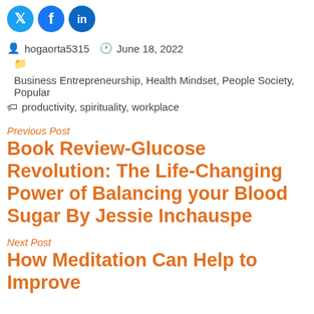[Figure (infographic): Three social media share icons: Twitter (blue bird), Facebook (blue f), LinkedIn (blue in)]
hogaorta5315   June 18, 2022
Business Entrepreneurship, Health Mindset, People Society, Popular
productivity, spirituality, workplace
Previous Post
Book Review-Glucose Revolution: The Life-Changing Power of Balancing your Blood Sugar By Jessie Inchauspe
Next Post
How Meditation Can Help to Improve